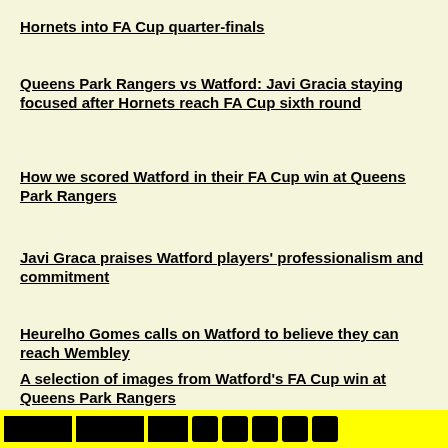Hornets into FA Cup quarter-finals
Queens Park Rangers vs Watford: Javi Gracia staying focused after Hornets reach FA Cup sixth round
How we scored Watford in their FA Cup win at Queens Park Rangers
Javi Graca praises Watford players' professionalism and commitment
Heurelho Gomes calls on Watford to believe they can reach Wembley
A selection of images from Watford's FA Cup win at Queens Park Rangers
[Figure (other): Yellow banner bar with black blocks representing navigation/social media icons at the bottom of the page]